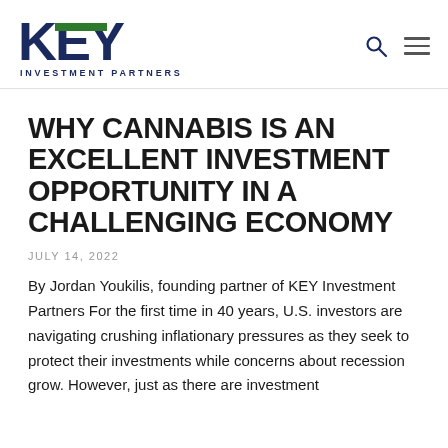[Figure (logo): KEY Investment Partners logo with large bold dark blue letters K, E, Y with a green bar accent over the E, and 'INVESTMENT PARTNERS' subtitle in dark blue uppercase small text]
WHY CANNABIS IS AN EXCELLENT INVESTMENT OPPORTUNITY IN A CHALLENGING ECONOMY
JULY 14, 2022
By Jordan Youkilis, founding partner of KEY Investment Partners For the first time in 40 years, U.S. investors are navigating crushing inflationary pressures as they seek to protect their investments while concerns about recession grow. However, just as there are investment